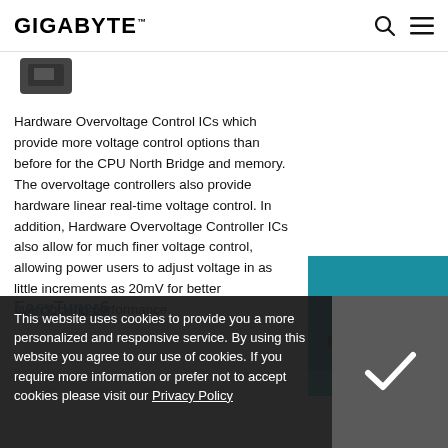GIGABYTE
[Figure (photo): Partial view of a black hardware component (IC chip or module) shown cropped at top of page]
Hardware Overvoltage Control ICs which provide more voltage control options than before for the CPU North Bridge and memory. The overvoltage controllers also provide hardware linear real-time voltage control. In addition, Hardware Overvoltage Controller ICs also allow for much finer voltage control, allowing power users to adjust voltage in as little increments as 20mV for better overclocking performance.
[Figure (illustration): 3D isometric rendering of a motherboard or hardware component with blue accent lighting. '3D INDUSTRY >' badge overlaid.]
EasyTuner6
This website uses cookies to provide you a more personalized and responsive service. By using this website you agree to our use of cookies. If you require more information or prefer not to accept cookies please visit our Privacy Policy
and monitor your hardware resources as well as track your custom settings